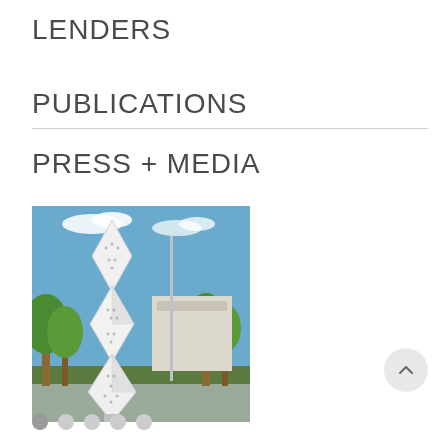LENDERS
PUBLICATIONS
PRESS + MEDIA
[Figure (photo): Outdoor sculpture consisting of stacked geometric triangular/diamond white panels with perforated dots, photographed against a blue sky with palm trees and a building in the background.]